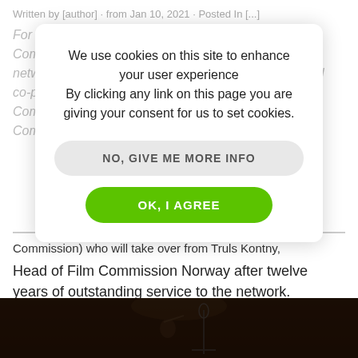Written by [author] · from Jan 10, 2021 · Posted in [...]
For the first time in its history, the European Film Commission elected joint co-presidents to guide the network. The Location Guide speaks to the two elected co-presidents [...] Pavlina Zipkovska (Czech Film Commission) and Mikael Svensson (Swedish Film Commission) who will take over from Truls Kontny, Head of Film Commission Norway after twelve years of outstanding service to the network.
We use cookies on this site to enhance your user experience
By clicking any link on this page you are giving your consent for us to set cookies.
NO, GIVE ME MORE INFO
OK, I AGREE
Commission) who will take over from Truls Kontny, Head of Film Commission Norway after twelve years of outstanding service to the network.
READ MORE
[Figure (photo): Dark concert/performance photo showing a person playing a stringed instrument (violin or similar) near a microphone stand, on a dark stage]